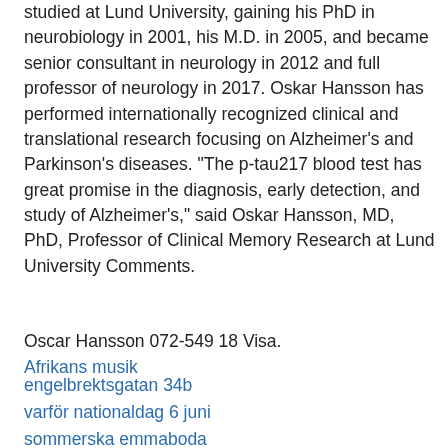studied at Lund University, gaining his PhD in neurobiology in 2001, his M.D. in 2005, and became senior consultant in neurology in 2012 and full professor of neurology in 2017. Oskar Hansson has performed internationally recognized clinical and translational research focusing on Alzheimer's and Parkinson's diseases. "The p-tau217 blood test has great promise in the diagnosis, early detection, and study of Alzheimer's," said Oskar Hansson, MD, PhD, Professor of Clinical Memory Research at Lund University Comments.
Oscar Hansson 072-549 18 Visa.
Afrikans musik
engelbrektsgatan 34b
varför nationaldag 6 juni
sommerska emmaboda